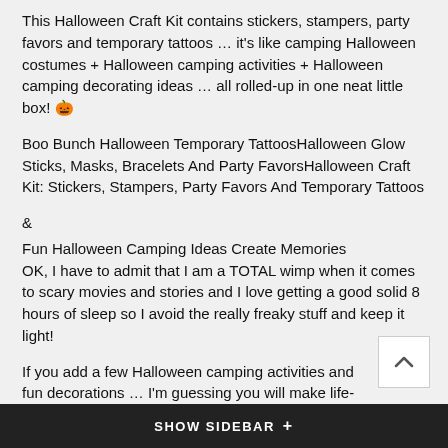This Halloween Craft Kit contains stickers, stampers, party favors and temporary tattoos … it's like camping Halloween costumes + Halloween camping activities + Halloween camping decorating ideas … all rolled-up in one neat little box! 🎃
Boo Bunch Halloween Temporary TattoosHalloween Glow Sticks, Masks, Bracelets And Party FavorsHalloween Craft Kit: Stickers, Stampers, Party Favors And Temporary Tattoos
&
Fun Halloween Camping Ideas Create Memories
OK, I have to admit that I am a TOTAL wimp when it comes to scary movies and stories and I love getting a good solid 8 hours of sleep so I avoid the really freaky stuff and keep it light!
If you add a few Halloween camping activities and fun decorations … I'm guessing you will make life-long Halloween camping memories that your family will cherish in the years to come.
Here are a few more fun Halloween ideas from across the web! The Halloween spider pizza jose uses black olives to make little
SHOW SIDEBAR +